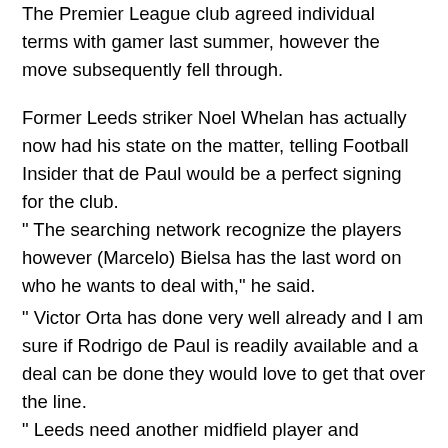The Premier League club agreed individual terms with gamer last summer, however the move subsequently fell through.
Former Leeds striker Noel Whelan has actually now had his state on the matter, telling Football Insider that de Paul would be a perfect signing for the club.
" The searching network recognize the players however (Marcelo) Bielsa has the last word on who he wants to deal with," he said.
" Victor Orta has done very well already and I am sure if Rodrigo de Paul is readily available and a deal can be done they would love to get that over the line.
" Leeds need another midfield player and someone of that quality